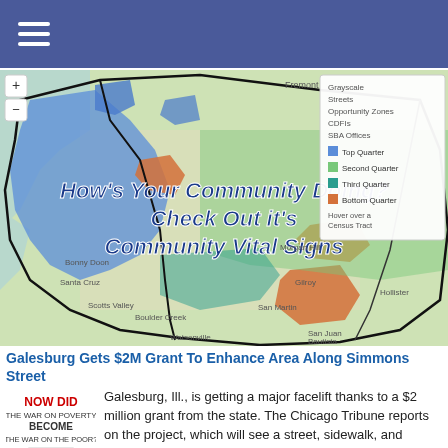Navigation menu
[Figure (map): Interactive map showing community vital signs for the San Jose / Silicon Valley / Santa Cruz area, with colored overlays indicating Top Quarter (blue), Second Quarter (green), Third Quarter (teal), Bottom Quarter (orange), and other census tract overlays. Legend shows Grayscale, Streets, Opportunity Zones, CDFIs, SBA Offices. Text overlay reads: How's Your Community Doing? Check Out it's Community Vital Signs]
Galesburg Gets $2M Grant To Enhance Area Along Simmons Street
[Figure (logo): How Did The War On Poverty Become The War On The Poor? - logo with figure]
Galesburg, Ill., is getting a major facelift thanks to a $2 million grant from the state. The Chicago Tribune reports on the project, which will see a street, sidewalk, and curbing reconstructed...more
Erie Insurance And Arctaris Team Up On New $12.4 Million Investment